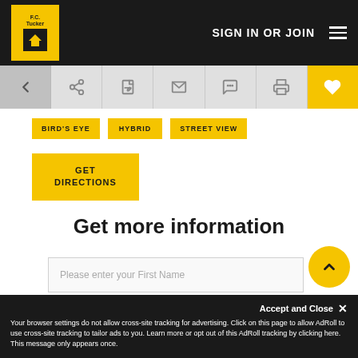SIGN IN OR JOIN
[Figure (screenshot): Navigation toolbar with back arrow, share, edit, email, chat, print icons and a yellow heart/favorite button]
BIRD'S EYE   HYBRID   STREET VIEW
GET DIRECTIONS
Get more information
Please enter your First Name
Accept and Close ✕
Your browser settings do not allow cross-site tracking for advertising. Click on this page to allow AdRoll to use cross-site tracking to tailor ads to you. Learn more or opt out of this AdRoll tracking by clicking here. This message only appears once.